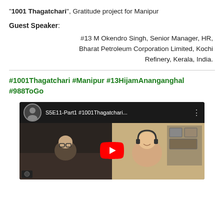“1001 Thagatchari”, Gratitude project for Manipur
Guest Speaker:
#13 M Okendro Singh, Senior Manager, HR, Bharat Petroleum Corporation Limited, Kochi Refinery, Kerala, India.
#1001Thagatchari #Manipur #13HijamAnanganghal #988ToGo
[Figure (screenshot): YouTube video thumbnail showing 'S5E11-Part1 #1001Thagatchari...' with two people visible in split screen view and a YouTube play button overlay]